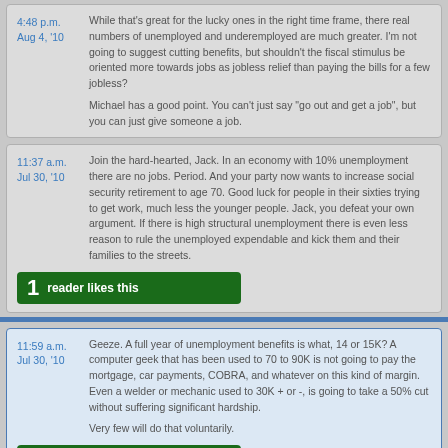4:48 p.m. Aug 4, '10 — While that's great for the lucky ones in the right time frame, there real numbers of unemployed and underemployed are much greater. I'm not going to suggest cutting benefits, but shouldn't the fiscal stimulus be oriented more towards jobs as jobless relief than paying the bills for a few jobless? Michael has a good point. You can't just say "go out and get a job", but you can just give someone a job.
11:37 a.m. Jul 30, '10 — Join the hard-hearted, Jack. In an economy with 10% unemployment there are no jobs. Period. And your party now wants to increase social security retirement to age 70. Good luck for people in their sixties trying to get work, much less the younger people. Jack, you defeat your own argument. If there is high structural unemployment there is even less reason to rule the unemployed expendable and kick them and their families to the streets.
1 reader likes this
11:59 a.m. Jul 30, '10 — Geeze. A full year of unemployment benefits is what, 14 or 15K? A computer geek that has been used to 70 to 90K is not going to pay the mortgage, car payments, COBRA, and whatever on this kind of margin. Even a welder or mechanic used to 30K + or -, is going to take a 50% cut without suffering significant hardship. Very few will do that voluntarily.
6 readers like this